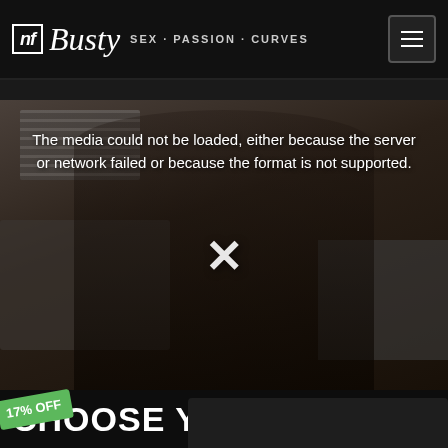nf Busty SEX · PASSION · CURVES
[Figure (photo): Background photo of two people embracing in a kitchen/living room area, with a media error overlay showing an X button and error message]
The media could not be loaded, either because the server or network failed or because the format is not supported.
CHOOSE YOUR PLAN
17% OFF